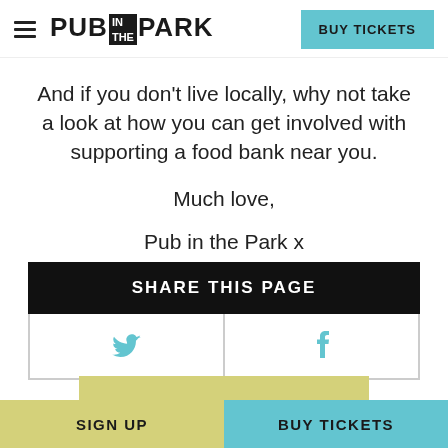PUB IN THE PARK | BUY TICKETS
And if you don't live locally, why not take a look at how you can get involved with supporting a food bank near you.

Much love,

Pub in the Park x
| SHARE THIS PAGE |
| --- |
| Twitter icon | Facebook icon |
SIGN UP | BUY TICKETS